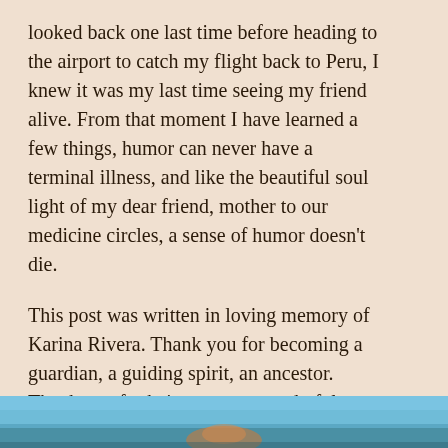looked back one last time before heading to the airport to catch my flight back to Peru, I knew it was my last time seeing my friend alive. From that moment I have learned a few things, humor can never have a terminal illness, and like the beautiful soul light of my dear friend, mother to our medicine circles, a sense of humor doesn't die.
This post was written in loving memory of Karina Rivera. Thank you for becoming a guardian, a guiding spirit, an ancestor. Thank you for being a most wonderful friend. The soothing sound of your joyous laughter, fills my heart today.
With Love,
Kevon
[Figure (photo): A partial photo strip at the bottom of the page showing what appears to be an outdoor or nature scene with blue sky and possibly a person, cropped to a narrow horizontal band.]